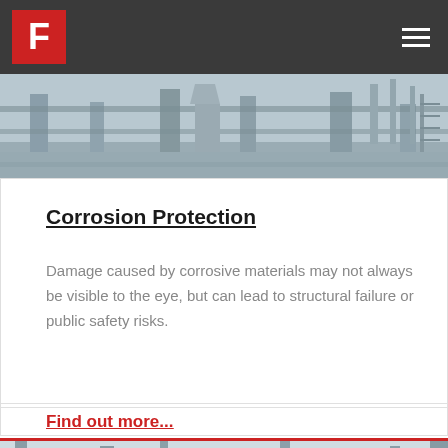F
[Figure (photo): Industrial facility exterior photo showing pipes, columns, and structural steel elements in a muted blue-gray color scheme]
Corrosion Protection
Damage caused by corrosive materials may not always be visible to the eye, but can lead to structural failure or public safety risks.
Find out more...
[Figure (photo): Industrial chemical plant or refinery showing pipes, scaffolding, tanks and structural steel elements]